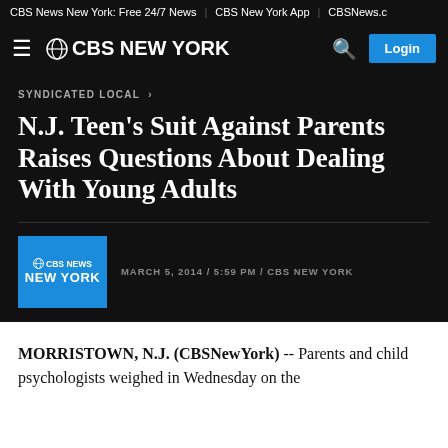CBS News New York: Free 24/7 News | CBS New York App | CBSNews.c
≡ ©CBS NEW YORK   🔍  Login
SYNDICATED LOCAL ›
N.J. Teen's Suit Against Parents Raises Questions About Dealing With Young Adults
MARCH 5, 2014 / 5:59 PM / CBS NEW YORK
MORRISTOWN, N.J. (CBSNewYork) -- Parents and child psychologists weighed in Wednesday on the